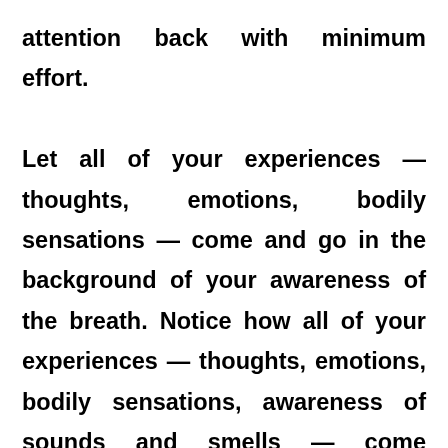attention back with minimum effort.

Let all of your experiences — thoughts, emotions, bodily sensations — come and go in the background of your awareness of the breath. Notice how all of your experiences — thoughts, emotions, bodily sensations, awareness of sounds and smells — come automatically and effortlessly like the breath, is the way to